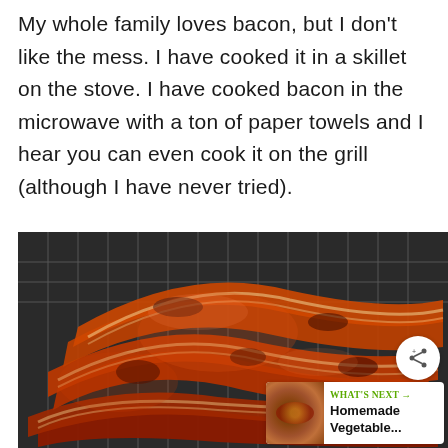My whole family loves bacon, but I don't like the mess. I have cooked it in a skillet on the stove. I have cooked bacon in the microwave with a ton of paper towels and I hear you can even cook it on the grill (although I have never tried).
[Figure (photo): A large pile of cooked crispy bacon strips stacked on a wire rack, showing deep reddish-brown color with a glossy appearance. A share button icon and a 'What's Next' overlay for Homemade Vegetable... are visible.]